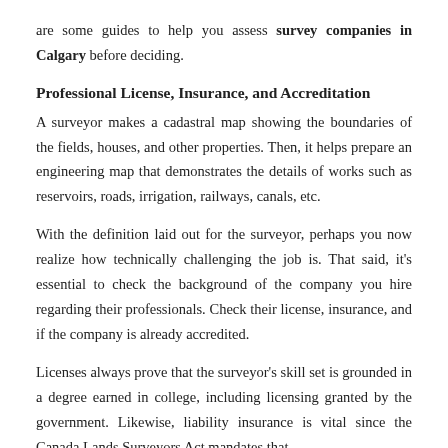are some guides to help you assess survey companies in Calgary before deciding.
Professional License, Insurance, and Accreditation
A surveyor makes a cadastral map showing the boundaries of the fields, houses, and other properties. Then, it helps prepare an engineering map that demonstrates the details of works such as reservoirs, roads, irrigation, railways, canals, etc.
With the definition laid out for the surveyor, perhaps you now realize how technically challenging the job is. That said, it's essential to check the background of the company you hire regarding their professionals. Check their license, insurance, and if the company is already accredited.
Licenses always prove that the surveyor's skill set is grounded in a degree earned in college, including licensing granted by the government. Likewise, liability insurance is vital since the Canada Lands Surveyors Act mandates that